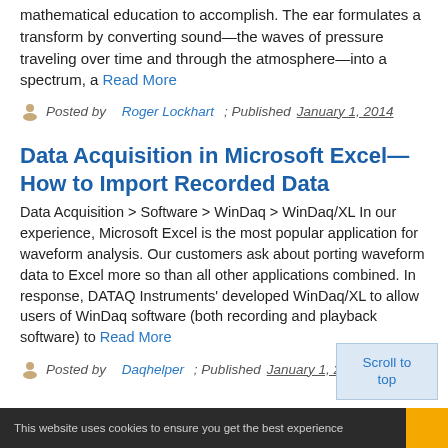mathematical education to accomplish. The ear formulates a transform by converting sound—the waves of pressure traveling over time and through the atmosphere—into a spectrum, a Read More
Posted by Roger Lockhart ; Published January 1, 2014
Data Acquisition in Microsoft Excel—How to Import Recorded Data
Data Acquisition > Software > WinDaq > WinDaq/XL In our experience, Microsoft Excel is the most popular application for waveform analysis. Our customers ask about porting waveform data to Excel more so than all other applications combined. In response, DATAQ Instruments' developed WinDaq/XL to allow users of WinDaq software (both recording and playback software) to Read More
Posted by Daqhelper ; Published January 1, 2014
This website uses cookies to ensure you get the best experience